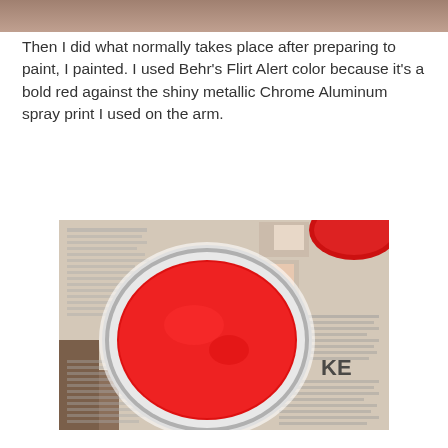[Figure (photo): Top edge of a photo showing a person's hand or body, partially cropped at top of page]
Then I did what normally takes place after preparing to paint, I painted. I used Behr's Flirt Alert color because it's a bold red against the shiny metallic Chrome Aluminum spray print I used on the arm.
[Figure (photo): Top-down view of an open can of bright red Behr Flirt Alert paint sitting on a newspaper/magazine page]